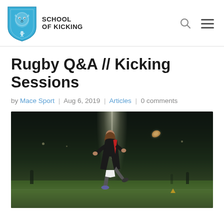School of Kicking
Rugby Q&A // Kicking Sessions
by Mace Sport | Aug 6, 2019 | Articles | 0 comments
[Figure (photo): Night-time rugby kicking session on a floodlit field; a player in a dark jersey has just kicked the ball which is visible in the air; floodlight pole in background illuminating the pitch.]